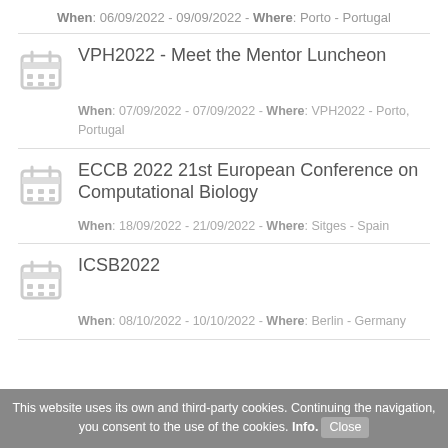When: 06/09/2022 - 09/09/2022 - Where: Porto - Portugal
VPH2022 - Meet the Mentor Luncheon
When: 07/09/2022 - 07/09/2022 - Where: VPH2022 - Porto, Portugal
ECCB 2022 21st European Conference on Computational Biology
When: 18/09/2022 - 21/09/2022 - Where: Sitges - Spain
ICSB2022
When: 08/10/2022 - 10/10/2022 - Where: Berlin - Germany
This website uses its own and third-party cookies. Continuing the navigation, you consent to the use of the cookies. Info. Close